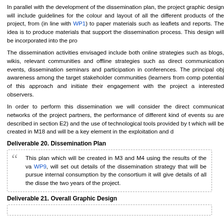In parallel with the development of the dissemination plan, the project graphic design will include guidelines for the colour and layout of all the different products of the project, from (in line with WP1) to paper materials such as leaflets and reports. The idea is to produce materials that support the dissemination process. This design will be incorporated into the project website.
The dissemination activities envisaged include both online strategies such as blogs, wikis, relevant communities and offline strategies such as direct communication events, dissemination seminars and participation in conferences. The principal objective is to create awareness among the target stakeholder communities (learners from companies who can see the potential of this approach and initiate their engagement with the project as participants or interested observers.
In order to perform this dissemination we will consider the direct communication through the networks of the project partners, the performance of different kind of events such as those that are described in section E2) and the use of technological tools provided by the project website which will be created in M18 and will be a key element in the exploitation and dissemination.
Deliverable 20. Dissemination Plan
This plan which will be created in M3 and M4 using the results of the various analyses run in WP9, will set out details of the dissemination strategy that will be pursued. In addition to internal consumption by the consortium it will give details of all the dissemination activities over the two years of the project.
Deliverable 21. Overall Graphic Design